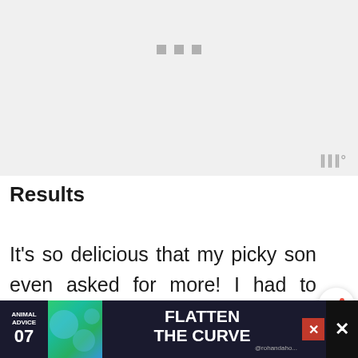[Figure (screenshot): Light gray placeholder image area with three small gray squares near the top center, and a watermark-style icon at bottom right]
Results
It's so delicious that my picky son even asked for more! I had to bake another batch because as
[Figure (other): Advertisement banner at bottom: Animal Advice 07 Flatten The Curve with colorful graphic and close buttons]